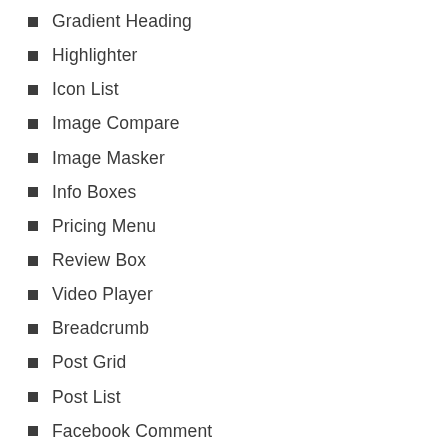Gradient Heading
Highlighter
Icon List
Image Compare
Image Masker
Info Boxes
Pricing Menu
Review Box
Video Player
Breadcrumb
Post Grid
Post List
Facebook Comment
Facebook Group
Facebook Like
Facebook Page
Facebook Post
Facebook Share Button